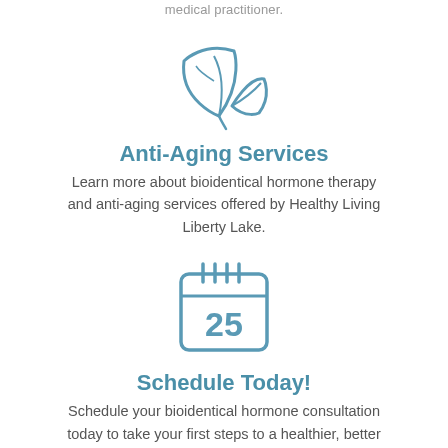medical practitioner.
[Figure (illustration): Two leaves icon in teal/steel blue outline style]
Anti-Aging Services
Learn more about bioidentical hormone therapy and anti-aging services offered by Healthy Living Liberty Lake.
[Figure (illustration): Calendar icon showing '25' in teal/steel blue outline style]
Schedule Today!
Schedule your bioidentical hormone consultation today to take your first steps to a healthier, better feeling you.